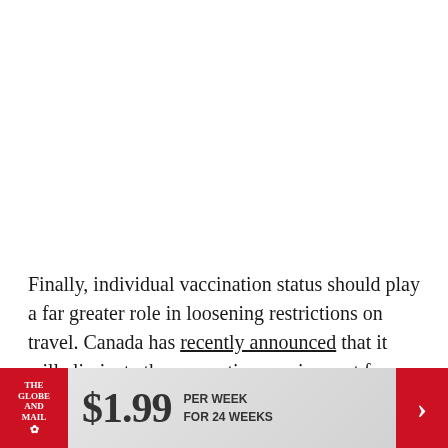Finally, individual vaccination status should play a far greater role in loosening restrictions on travel. Canada has recently announced that it will eliminate the quarantine requirement for fully vaccinated returning travellers who are Canadians citizens or
[Figure (other): Advertisement banner for The Globe and Mail: $1.99 per week for 24 weeks]